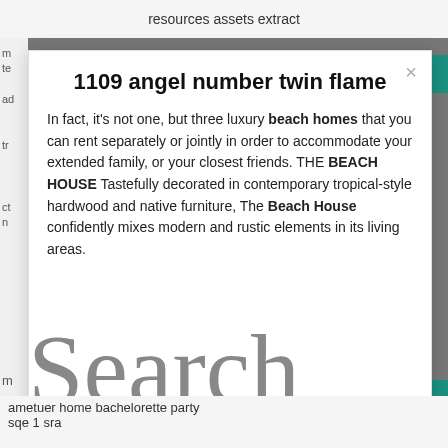resources assets extract
1109 angel number twin flame
In fact, it's not one, but three luxury beach homes that you can rent separately or jointly in order to accommodate your extended family, or your closest friends. THE BEACH HOUSE Tastefully decorated in contemporary tropical-style hardwood and native furniture, The Beach House confidently mixes modern and rustic elements in its living areas.
Search
ametuer home bachelorette party
sqe 1 sra